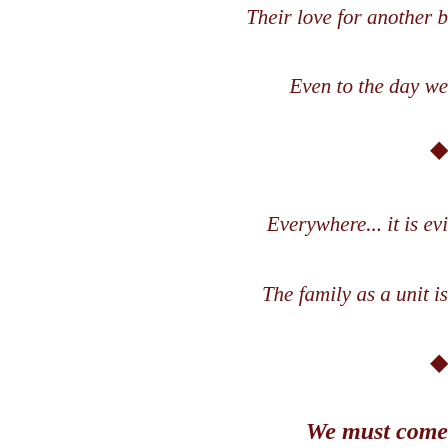Their love for another b
Even to the day we
◆
Everywhere... it is evi
The family as a unit is
◆
We must come
remove all h
And walk in God's love
◆
We must apprecia
in spite of o
Standing together o
brings goo
◆
It we insist on "going